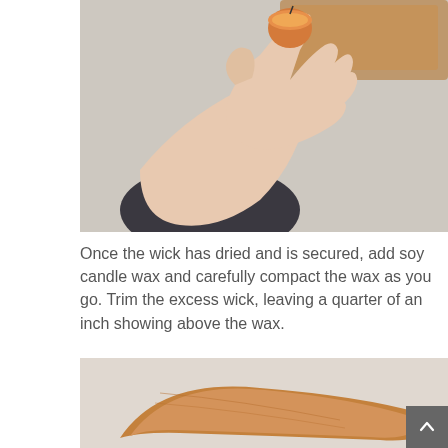[Figure (photo): A hand holding a small round object (candle container) with a wooden tray visible in the background against a light gray wall.]
Once the wick has dried and is secured, add soy candle wax and carefully compact the wax as you go. Trim the excess wick, leaving a quarter of an inch showing above the wax.
[Figure (photo): Close-up of a wooden tray or paddle with a blurred background.]